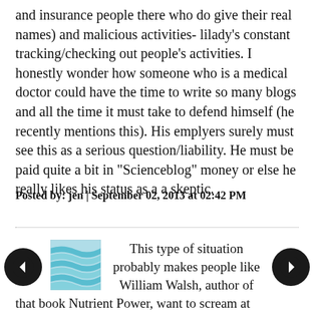(…and insurance people there who do give their real names) and malicious activities- lilady's constant tracking/checking out people's activities. I honestly wonder how someone who is a medical doctor could have the time to write so many blogs and all the time it must take to defend himself (he recently mentions this). His emplyers surely must see this as a serious question/liability. He must be paid quite a bit in "Scienceblog" money or else he really likes his status as a a skeptic.
Posted by: jen | September 02, 2013 at 02:42 PM
[Figure (illustration): Wavy blue and white striped square thumbnail image]
This type of situation probably makes people like William Walsh, author of that book Nutrient Power, want to scream at